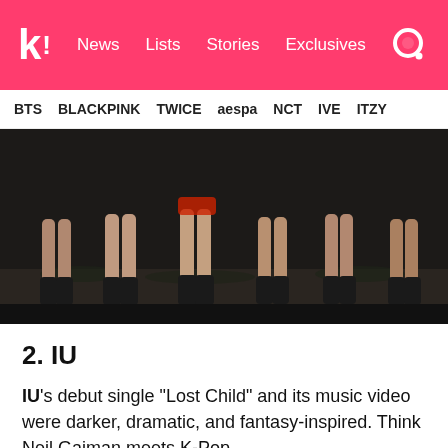k! News Lists Stories Exclusives
BTS BLACKPINK TWICE aespa NCT IVE ITZY
[Figure (photo): Dark outdoor scene showing legs of multiple performers in black boots and shorts, dancing or posing on ground with vegetation]
2. IU
IU's debut single “Lost Child” and its music video were darker, dramatic, and fantasy-inspired. Think Neil Gaiman meets K-Pop.
[Figure (photo): Partial bottom strip of another image, dark tones]